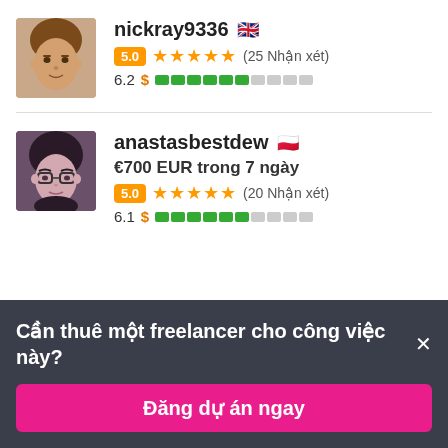[Figure (photo): Avatar photo of freelancer nickray9336, male, light skin]
nickray9336 🇬🇧
5.0 ★★★★★ (25 Nhận xét)
6.2 $ ██████░░░░
[Figure (photo): Avatar photo of freelancer anastasbestdew, female with glasses]
anastasbestdew 🇵🇱
€700 EUR trong 7 ngày
5.0 ★★★★★ (20 Nhận xét)
6.1 $ ██████░░░░
Cần thuê một freelancer cho công việc này? ×
Đăng dự án ngay